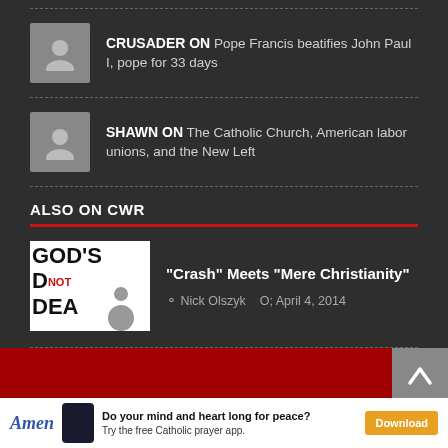CRUSADER ON Pope Francis beatifies John Paul I, pope for 33 days
SHAWN ON The Catholic Church, American labor unions, and the New Left
ALSO ON CWR
[Figure (photo): Book/movie cover for God's Not Dead]
"Crash" Meets "Mere Christianity"
Nick Olszyk  April 4, 2014
[Figure (other): Red footer bar with hamburger menu icon and scroll-to-top button]
Do your mind and heart long for peace? Try the free Catholic prayer app. Download